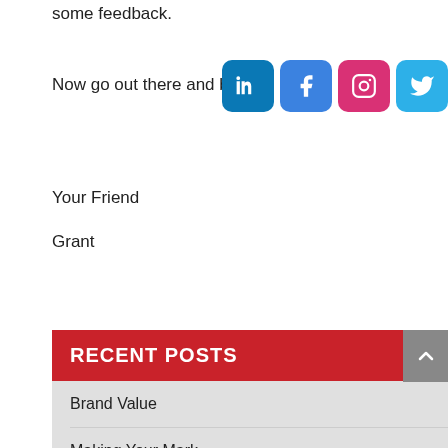some feedback.
Now go out there and be extr...
[Figure (logo): Social media icon buttons for LinkedIn, Facebook, Instagram, and Twitter]
Your Friend
Grant
RECENT POSTS
Brand Value
Making Your Mark
The Power of Feedback in Leadership